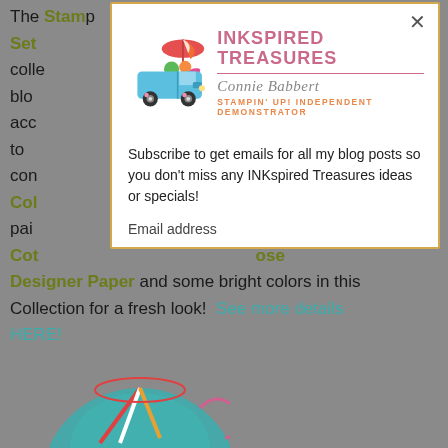The ... Stamp Set ... our collection ... to blog ... and accessories ... mple to ... will con... ose Close to My Heart Collection ... I've paired ... and Cottage Rose ... ose Designer Paper and some bright colors in this Collection for a fresh look! See more details HERE!
[Figure (screenshot): Email subscription modal overlay for INKspired Treasures blog by Connie Babbert, Stampin' Up! Independent Demonstrator. Features a colorful truck illustration with beach items, the blog logo, and a subscribe form with text: 'Subscribe to get emails for all my blog posts so you don't miss any INKspired Treasures ideas or specials!' and an Email address input field.]
[Figure (illustration): Partial view of a circular decorative image at the bottom of the page showing colorful beach/summer themed artwork.]